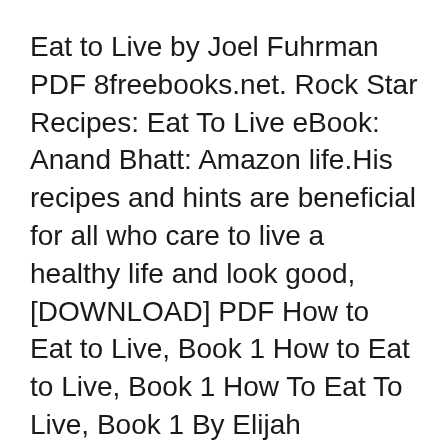Eat to Live by Joel Fuhrman PDF 8freebooks.net. Rock Star Recipes: Eat To Live eBook: Anand Bhatt: Amazon life.His recipes and hints are beneficial for all who care to live a healthy life and look good, [DOWNLOAD] PDF How to Eat to Live, Book 1 How to Eat to Live, Book 1 How To Eat To Live, Book 1 By Elijah Muhammad For more than 30 years, messenger Elijah Muhammad.
27/01/2016B B· Read or Download Now http://goodreads.com.playsterbooks.com/?book=1884855733How To Eat To Live Book 2 PDF Download [DOWNLOAD] PDF How to Eat to Live, Book 1 How to Eat to Live, Book 1 How